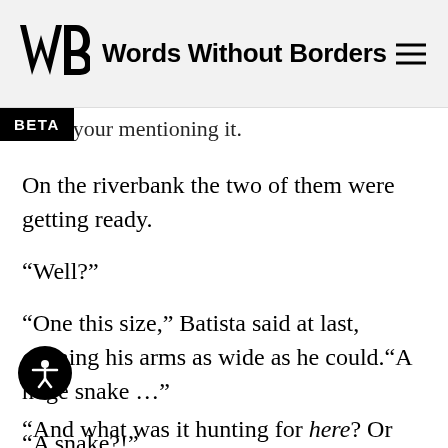Words Without Borders
…mber your mentioning it.
On the riverbank the two of them were getting ready.
“Well?”
“One this size,” Batista said at last, opening his arms as wide as he could. “A huge snake …”
“A snake?!”
“As strong as an alligator! And it was white, a proper albino. We found it a few months back. … big!”
“And what was it hunting for here? Or was it